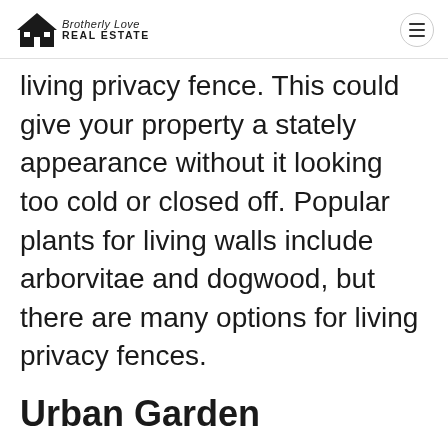Brotherly Love REAL ESTATE
living privacy fence. This could give your property a stately appearance without it looking too cold or closed off. Popular plants for living walls include arborvitae and dogwood, but there are many options for living privacy fences.
Urban Garden